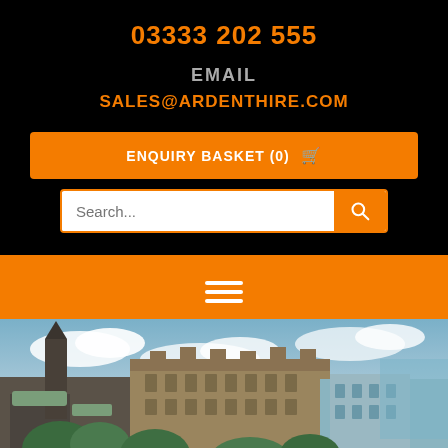03333 202 555
EMAIL
SALES@ARDENTHIRE.COM
ENQUIRY BASKET (0) 🛒
[Figure (screenshot): Search bar with orange search button]
[Figure (other): Hamburger menu icon on orange navigation bar]
[Figure (photo): Cityscape photograph showing historic stone buildings, a cathedral with green copper roof on the left, and large Victorian-era buildings in the center and right, with trees and cloudy blue sky]